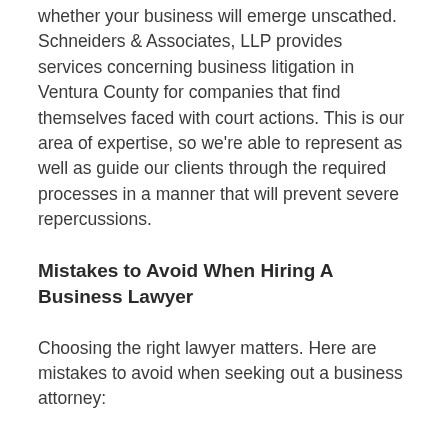whether your business will emerge unscathed. Schneiders & Associates, LLP provides services concerning business litigation in Ventura County for companies that find themselves faced with court actions. This is our area of expertise, so we're able to represent as well as guide our clients through the required processes in a manner that will prevent severe repercussions.
Mistakes to Avoid When Hiring A Business Lawyer
Choosing the right lawyer matters. Here are mistakes to avoid when seeking out a business attorney: